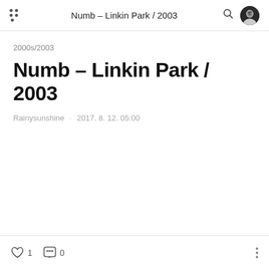Numb – Linkin Park / 2003
2000s/2003
Numb – Linkin Park / 2003
Rainysunshine · 2017. 8. 12. 05:00
1  0